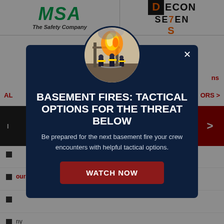[Figure (logo): MSA The Safety Company logo (green text, italic serif tagline)]
[Figure (logo): Decon7 logo with stylized D block and orange 7]
AL
ORS >
[Figure (screenshot): Dark navigation banner strip with red arrow button on right]
bullet item (partially obscured)
ours, not (partially obscured)
bullet item (partially obscured)
ny (partially obscured)
[Figure (screenshot): Modal popup with circular image of firefighters at a basement fire scene, titled BASEMENT FIRES: TACTICAL OPTIONS FOR THE THREAT BELOW, with body text and WATCH NOW button]
BASEMENT FIRES: TACTICAL OPTIONS FOR THE THREAT BELOW
Be prepared for the next basement fire your crew encounters with helpful tactical options.
WATCH NOW